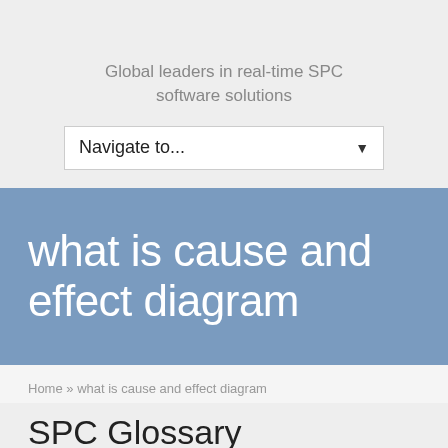Global leaders in real-time SPC software solutions
[Figure (screenshot): Navigation dropdown selector showing 'Navigate to...' with a dropdown arrow]
what is cause and effect diagram
Home » what is cause and effect diagram
SPC Glossary